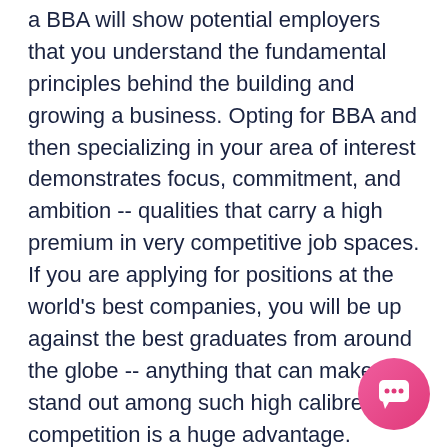a BBA will show potential employers that you understand the fundamental principles behind the building and growing a business. Opting for BBA and then specializing in your area of interest demonstrates focus, commitment, and ambition -- qualities that carry a high premium in very competitive job spaces. If you are applying for positions at the world's best companies, you will be up against the best graduates from around the globe -- anything that can make you stand out among such high calibre competition is a huge advantage.
Also, if you aim to set up a business or make a mark as a young entrepreneur, a BBA will teach you everything you need to know about turning your big ideas into big profits. Or maybe you see yourself overseeing a large multinational company or financial institute? If so, a BBA will prepare you for further study. Many BBA graduates go onto specialized master's programs or a Master of
[Figure (other): Pink/red circular chat button icon in the bottom right corner]